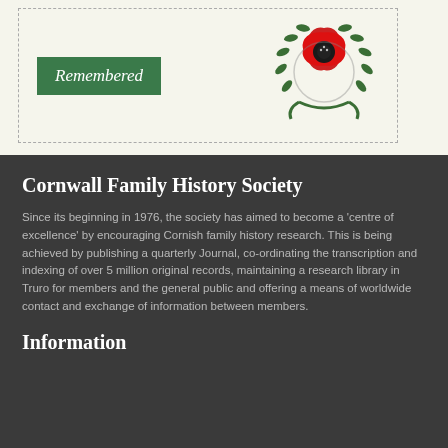[Figure (logo): Top section with a green 'Remembered' italic button/badge and a poppy wreath emblem on a cream background, inside a dashed border box.]
Cornwall Family History Society
Since its beginning in 1976, the society has aimed to become a ‘centre of excellence’ by encouraging Cornish family history research. This is being achieved by publishing a quarterly Journal, co-ordinating the transcription and indexing of over 5 million original records, maintaining a research library in Truro for members and the general public and offering a means of worldwide contact and exchange of information between members.
Information